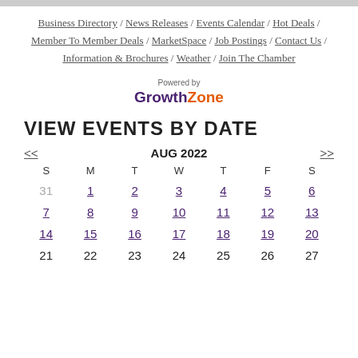Business Directory / News Releases / Events Calendar / Hot Deals / Member To Member Deals / MarketSpace / Job Postings / Contact Us / Information & Brochures / Weather / Join The Chamber
[Figure (logo): Powered by GrowthZone logo]
VIEW EVENTS BY DATE
| S | M | T | W | T | F | S |
| --- | --- | --- | --- | --- | --- | --- |
| 31 | 1 | 2 | 3 | 4 | 5 | 6 |
| 7 | 8 | 9 | 10 | 11 | 12 | 13 |
| 14 | 15 | 16 | 17 | 18 | 19 | 20 |
| 21 | 22 | 23 | 24 | 25 | 26 | 27 |